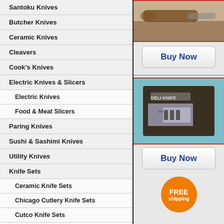Santoku Knives
Butcher Knives
Ceramic Knives
Cleavers
Cook's Knives
Electric Knives & Slicers
Electric Knives
Food & Meat Slicers
Paring Knives
Sushi & Sashimi Knives
Utility Knives
Knife Sets
Ceramic Knife Sets
Chicago Cutlery Knife Sets
Cutco Knife Sets
Ginsu Knife Sets
Henckels Knife Sets
Sabatier Knife Sets
Slitzer Knife Sets
Wusthof Knife Sets
[Figure (photo): Product photo of a knife with wooden handle, top right]
[Figure (photo): Product photo of a cleaver in a display box, bottom right]
Buy Now
Buy Now
FREE shipping